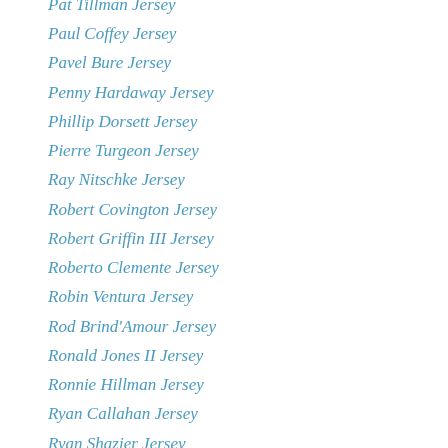Pat Tillman Jersey
Paul Coffey Jersey
Pavel Bure Jersey
Penny Hardaway Jersey
Phillip Dorsett Jersey
Pierre Turgeon Jersey
Ray Nitschke Jersey
Robert Covington Jersey
Robert Griffin III Jersey
Roberto Clemente Jersey
Robin Ventura Jersey
Rod Brind'Amour Jersey
Ronald Jones II Jersey
Ronnie Hillman Jersey
Ryan Callahan Jersey
Ryan Shazier Jersey
Sergei Fedorov Jersey
Serron Noel Jersey
Seth Roberts Jersey